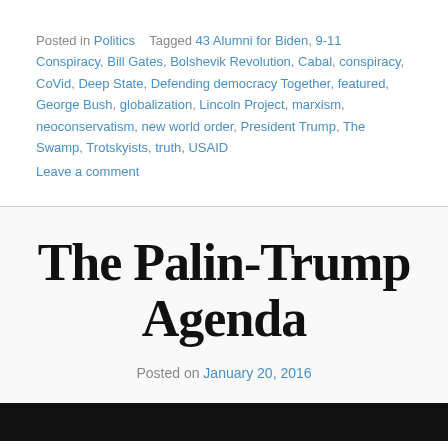Posted in Politics   Tagged 43 Alumni for Biden, 9-11 Conspiracy, Bill Gates, Bolshevik Revolution, Cabal, conspiracy, CoVid, Deep State, Defending democracy Together, featured, George Bush, globalization, Lincoln Project, marxism, neoconservatism, new world order, President Trump, The Swamp, Trotskyists, truth, USAID Leave a comment
The Palin-Trump Agenda
Posted on January 20, 2016